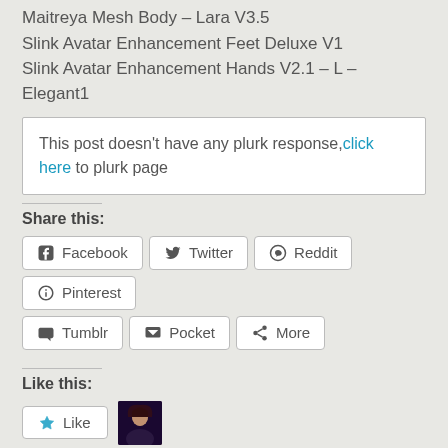Maitreya Mesh Body – Lara V3.5
Slink Avatar Enhancement Feet Deluxe V1
Slink Avatar Enhancement Hands V2.1 – L – Elegant1
This post doesn't have any plurk response, click here to plurk page
Share this:
Facebook
Twitter
Reddit
Pinterest
Tumblr
Pocket
More
Like this:
Like
One blogger likes this.
Related